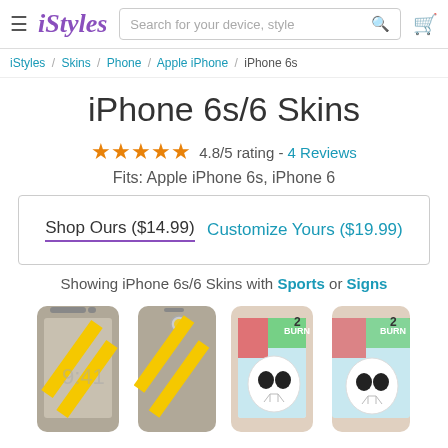iStyles | Search for your device, style
iStyles / Skins / Phone / Apple iPhone / iPhone 6s
iPhone 6s/6 Skins
4.8/5 rating - 4 Reviews
Fits: Apple iPhone 6s, iPhone 6
Shop Ours ($14.99)    Customize Yours ($19.99)
Showing iPhone 6s/6 Skins with Sports or Signs
[Figure (photo): Product images of iPhone 6s/6 skins showing two concrete/yellow stripe designs and two skull/graffiti designs]